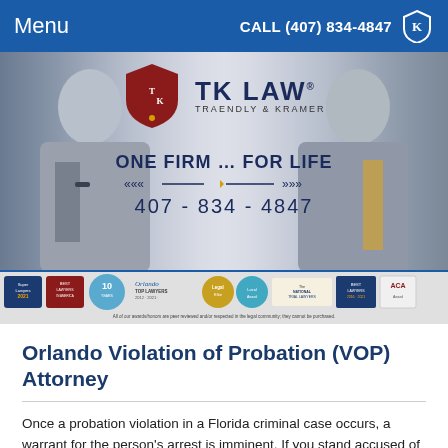Menu    CALL (407) 834-4847
[Figure (photo): TK Law – Traendly & Kramer law firm banner showing two male attorneys in suits flanking the TK LAW logo with text 'ONE FIRM … FOR LIFE' and phone number 407-834-4847]
[Figure (infographic): Awards bar showing multiple legal recognition badges including Super Lawyers 2021, Best Lawyers in America, 10-year award, Orlando Top Lawyers 2012-2021, Legal Elite, Local award, National Trial Lawyers, Best Lawyers 2016-2021, and ACA award. Footnote: All of our awards/honors are peer reviewed and/or respected in the legal community; they cannot be purchased.]
Orlando Violation of Probation (VOP) Attorney
Once a probation violation in a Florida criminal case occurs, a warrant for the person's arrest is imminent. If you stand accused of violating the terms of your Orlando probation, it is critical that